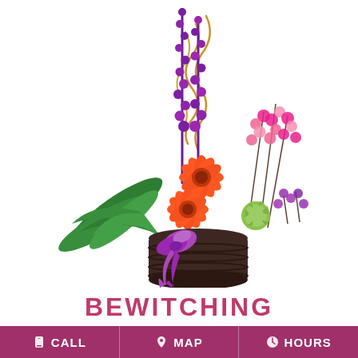[Figure (photo): A floral arrangement called 'Bewitching' featuring orange gerbera daisies, tall purple larkspur spikes, pink statice, green spider mums, purple waxflower, and green foliage in a dark brown ribbed ceramic pot with a purple ribbon bow. Curly gold wire accents extend upward.]
BEWITCHING
CALL   MAP   HOURS